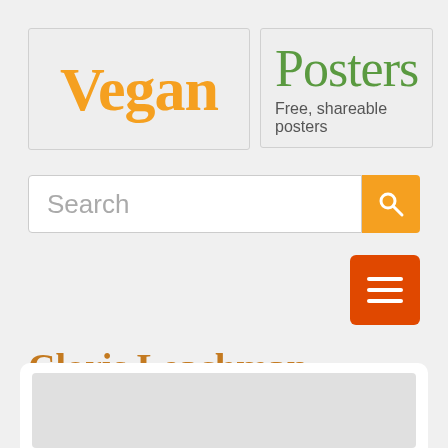[Figure (logo): Vegan Posters website logo: left panel with 'Vegan' in orange serif font on grey background, right panel with 'Posters' in green serif font and subtitle 'Free, shareable posters' on grey background]
Search
[Figure (infographic): Orange search button with magnifying glass icon]
[Figure (infographic): Orange-red hamburger menu button with three horizontal white lines]
Cloris Leachman
About Cloris Leachman
[Figure (photo): Partially visible card with grey image placeholder area at the bottom of the page]